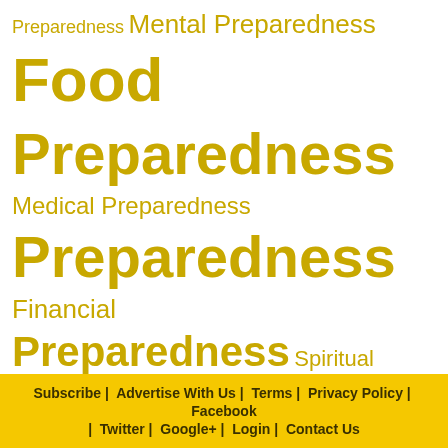[Figure (infographic): Tag cloud with preparedness-related terms in golden/yellow color at varying sizes: 'Preparedness', 'Mental Preparedness', 'Food Preparedness', 'Medical Preparedness', 'Preparedness', 'Financial Preparedness', 'Spiritual Preparedness']
More
Article Archives
- Choose -   Go
Subscribe | Advertise With Us | Terms | Privacy Policy | Facebook | Twitter | Google+ | Login | Contact Us